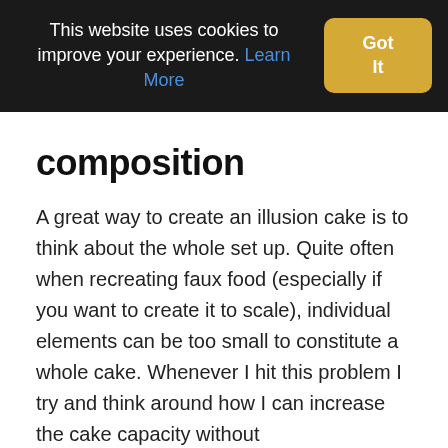This website uses cookies to improve your experience. Learn More  Got It
composition
A great way to create an illusion cake is to think about the whole set up. Quite often when recreating faux food (especially if you want to create it to scale), individual elements can be too small to constitute a whole cake. Whenever I hit this problem I try and think around how I can increase the cake capacity without